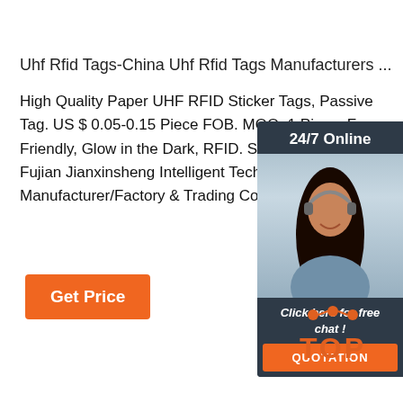Uhf Rfid Tags-China Uhf Rfid Tags Manufacturers ...
High Quality Paper UHF RFID Sticker Tags, Passive Tag. US $ 0.05-0.15 Piece FOB. MOQ: 1 Piece. Fea Friendly, Glow in the Dark, RFID. Since 2016. Conta Fujian Jianxinsheng Intelligent Technology Co., Ltd. Manufacturer/Factory & Trading Company. Fujian, C
[Figure (screenshot): Orange 'Get Price' button]
[Figure (infographic): 24/7 Online chat widget with photo of woman with headset, 'Click here for free chat!' text, and orange QUOTATION button]
[Figure (logo): Orange TOP logo with dots above letters]